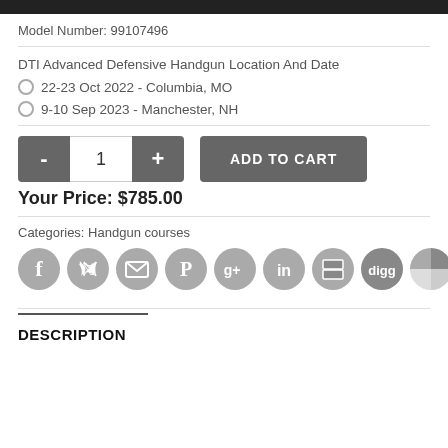Model Number: 99107496
DTI Advanced Defensive Handgun Location And Date
22-23 Oct 2022 - Columbia, MO
9-10 Sep 2023 - Manchester, NH
ADD TO CART
Your Price: $785.00
Categories: Handgun courses
[Figure (infographic): Row of social media sharing icons: Facebook, Twitter, Email, Pinterest, Google+, LinkedIn, Delicious, Digg, and one more icon (quartered circle)]
DESCRIPTION